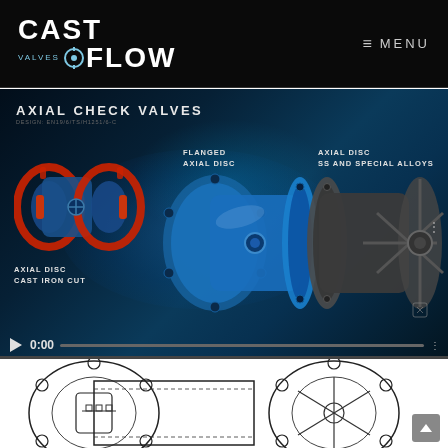CAST FLOW VALVES — MENU
AXIAL CHECK VALVES
DESIGN: EN19/6/TS/H1251/6-C
[Figure (screenshot): Video thumbnail showing three axial check valve products: left - Axial Disc Cast Iron Cut (red/blue valve), center - Flanged Axial Disc (blue valve), right - Axial Disc SS and Special Alloys (dark/grey valve). Video player controls showing play button, 0:00 timestamp, and progress bar.]
FLANGED
AXIAL DISC
AXIAL DISC
SS AND SPECIAL ALLOYS
AXIAL DISC
CAST IRON CUT
0:00
[Figure (engineering-diagram): Partial engineering/technical line drawing of an axial check valve showing flanged disc cross-section view from front, with circular bolt holes around flange periphery and internal disc mechanism components visible at bottom center.]